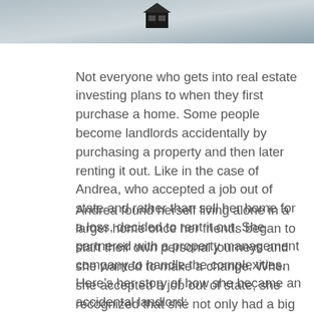[Figure (photo): Partial photo showing a blurred background with a small house/building icon visible at the top center, with blue-grey tones]
Not everyone who gets into real estate investing plans to when they first purchase a home. Some people become landlords accidentally by purchasing a property and then later renting it out. Like in the case of Andrea, who accepted a job out of state and rather than sell her home for a loss, decided to rent it out. She partnered with a property management company to handle the complexities. Here’s her story of how she became an accidental landlord:
Andrea found herself living alone in a larger home once her friends began to start their own personal journeys and she wanted to make a change. When she accepted a job out of state, she recognized that she not only had a big life change coming up but that she also had some loose ends to tie up before taking off.